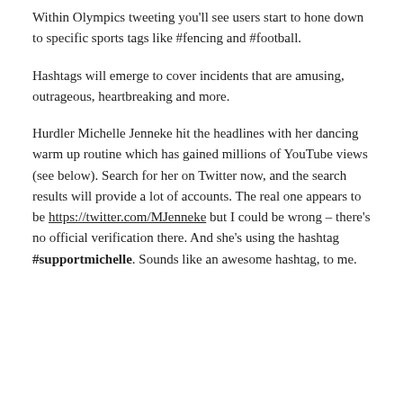Within Olympics tweeting you'll see users start to hone down to specific sports tags like #fencing and #football.
Hashtags will emerge to cover incidents that are amusing, outrageous, heartbreaking and more.
Hurdler Michelle Jenneke hit the headlines with her dancing warm up routine which has gained millions of YouTube views (see below). Search for her on Twitter now, and the search results will provide a lot of accounts. The real one appears to be https://twitter.com/MJenneke but I could be wrong – there's no official verification there. And she's using the hashtag #supportmichelle. Sounds like an awesome hashtag, to me.